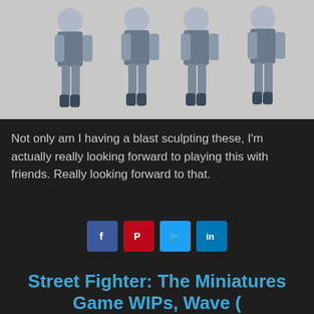[Figure (photo): Robot/miniature figurines shown from multiple angles against a light gray background. Four robotic humanoid figures visible in gray and dark blue armor.]
Not only am I having a blast sculpting these, I'm actually really looking forward to playing this with friends.  Really looking forward to that.
[Figure (infographic): Social media share buttons: Facebook (blue), Pinterest (red), Twitter (light blue), LinkedIn (blue)]
Street Fighter: The Miniatures Game WIPs, Wave (